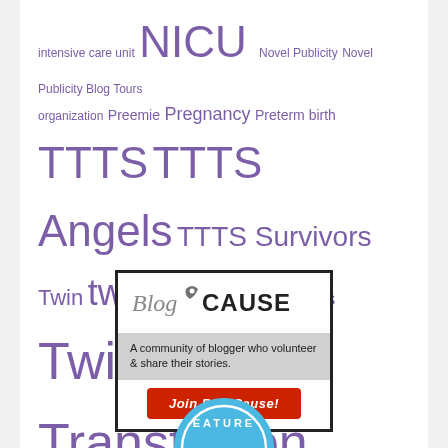intensive care unit NICU Novel Publicity Novel Publicity Blog Tours organization Preemie Pregnancy Preterm birth TTTS TTTS Angels TTTS Survivors Twin twinless twin twins Twin to Twin Transfusion Syndrome Uncategorized writing
[Figure (infographic): BlogCAUSE advertisement banner: logo at top with italic 'Blog' and bold 'CAUSE', gray section reading 'A community of blogger who volunteer & share their stories.', and a red button reading 'Join BlogCause!']
[Figure (illustration): Partial circular badge in blue, partially cut off at bottom edge, with text 'EATURE' visible — part of a 'FEATURED' badge]